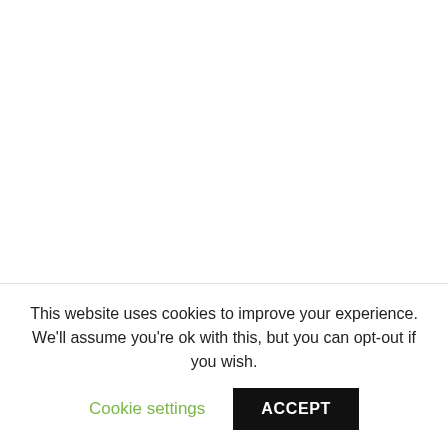Acceptance decreases your need to perform or fix and creates safety for honesty in the relationship. Sometimes we hide because we are scared we won't
This website uses cookies to improve your experience. We'll assume you're ok with this, but you can opt-out if you wish.
Cookie settings
ACCEPT